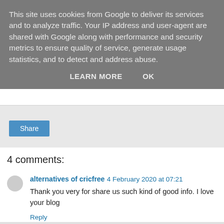This site uses cookies from Google to deliver its services and to analyze traffic. Your IP address and user-agent are shared with Google along with performance and security metrics to ensure quality of service, generate usage statistics, and to detect and address abuse.
LEARN MORE   OK
Share
4 comments:
alternatives of cricfree  4 February 2020 at 07:21
Thank you very for share us such kind of good info. I love your blog
Reply